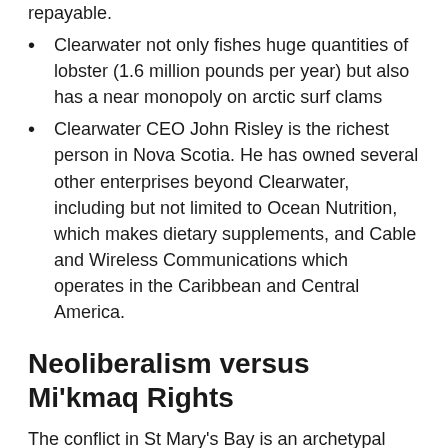repayable.
Clearwater not only fishes huge quantities of lobster (1.6 million pounds per year) but also has a near monopoly on arctic surf clams
Clearwater CEO John Risley is the richest person in Nova Scotia. He has owned several other enterprises beyond Clearwater, including but not limited to Ocean Nutrition, which makes dietary supplements, and Cable and Wireless Communications which operates in the Caribbean and Central America.
Neoliberalism versus Mi'kmaq Rights
The conflict in St Mary's Bay is an archetypal clash between a colonial state and an Indigenous nation. In this case, the Mi'kmaq Nation is working to assert its rights on its unceded, though occupied, territories. Meanwhile, the Canadian Government and its precursors have demonstrated their interest in